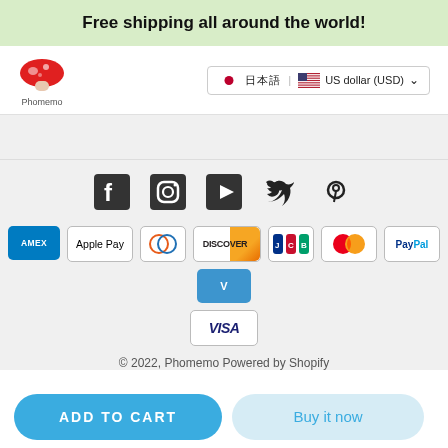Free shipping all around the world!
[Figure (logo): Phomemo red mushroom logo with text 'Phomemo' below]
🇯🇵 日本語 | 🇺🇸 US dollar (USD) ▾
[Figure (infographic): Social media icons: Facebook, Instagram, YouTube, Twitter, Pinterest]
[Figure (infographic): Payment method logos: AMEX, Apple Pay, Diners Club, Discover, JCB, Mastercard, PayPal, Venmo, Visa]
© 2022, Phomemo Powered by Shopify
ADD TO CART
Buy it now